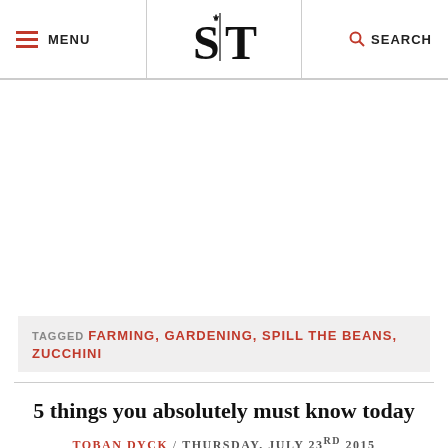MENU | S T | SEARCH
TAGGED FARMING, GARDENING, SPILL THE BEANS, ZUCCHINI
5 things you absolutely must know today
TOBAN DYCK / THURSDAY, JULY 23RD 2015